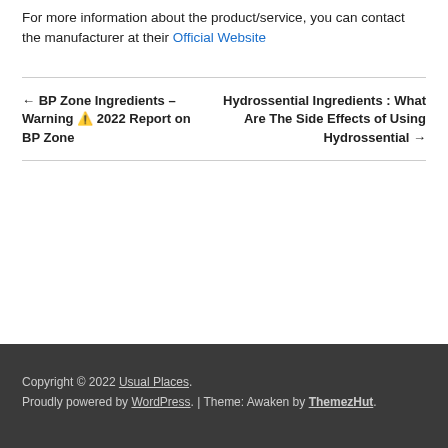For more information about the product/service, you can contact the manufacturer at their Official Website
← BP Zone Ingredients – Warning ⚠ 2022 Report on BP Zone
Hydrossential Ingredients : What Are The Side Effects of Using Hydrossential →
Copyright © 2022 Usual Places. Proudly powered by WordPress. | Theme: Awaken by ThemezHut.